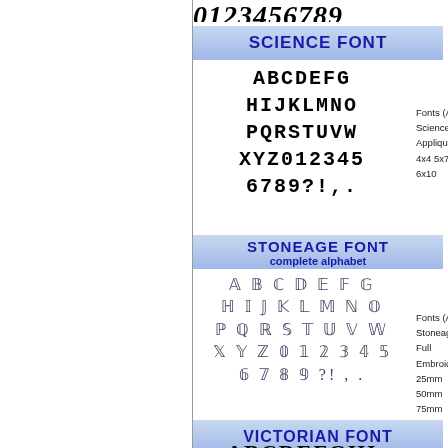[Figure (illustration): Partial row of bold italic numbers at top: 0123456789]
SCIENCE FONT
[Figure (illustration): Science font alphabet display: ABCDEFG HIJKLMNO PQRSTUVW XYZ012345 6789?!,.]
Fonts (A1 Science Applique 4x4 5x7 6x10
STONEAGE FONT complete alphabet
[Figure (illustration): Stoneage font alphabet display: ABCDEFG HIJKLMNO PQRSTUVW XYZ012345 6789?!,.]
Fonts (A1 Stoneage Full Embroidery 25mm 50mm 75mm
VICTORIAN FONT
[Figure (illustration): Victorian font partial alphabet beginning: ABCDEFGHI...]